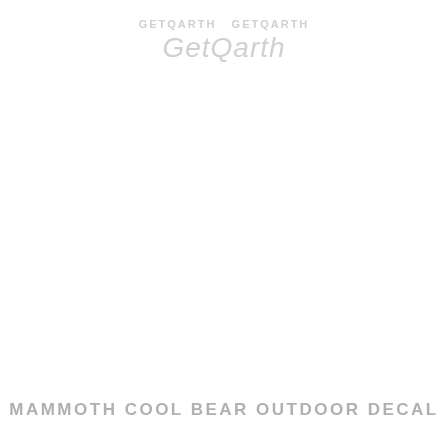[Figure (logo): Faint watermark/logo text reading 'GetQarth' or similar brand name in light gray, with small text above it]
MAMMOTH COOL BEAR OUTDOOR DECAL